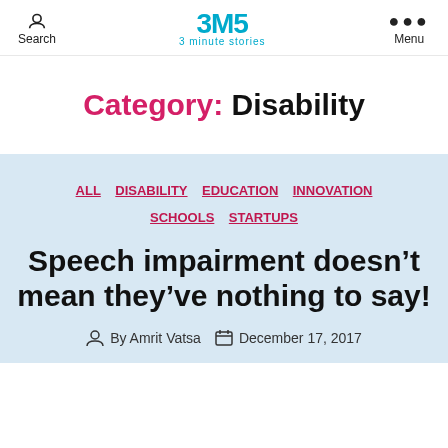Search | 3MS 3 minute stories | Menu
Category: Disability
ALL  DISABILITY  EDUCATION  INNOVATION  SCHOOLS  STARTUPS
Speech impairment doesn’t mean they’ve nothing to say!
By Amrit Vatsa   December 17, 2017